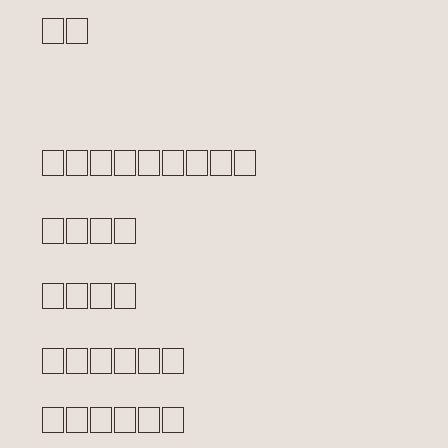□□
□□□□□□□□□
□□□□
□□□□
□□□□□□
□□□□□□